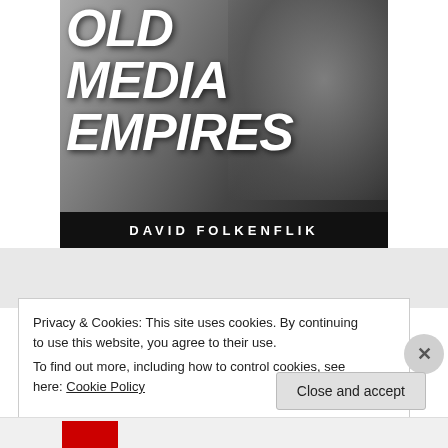[Figure (photo): Book cover showing 'OLD MEDIA EMPIRES' by David Folkenflik. Large bold white italic text on a black and grey background with a close-up face image. Author name in a black bar at the bottom in white spaced capital letters.]
Privacy & Cookies: This site uses cookies. By continuing to use this website, you agree to their use.
To find out more, including how to control cookies, see here: Cookie Policy
Close and accept